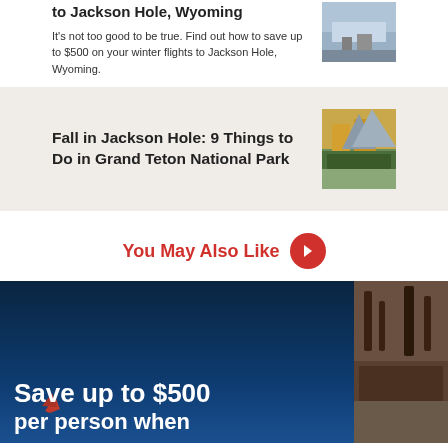to Jackson Hole, Wyoming
It's not too good to be true. Find out how to save up to $500 on your winter flights to Jackson Hole, Wyoming.
[Figure (photo): Aerial or ground-level photo of Jackson Hole, Wyoming in winter]
Fall in Jackson Hole: 9 Things to Do in Grand Teton National Park
[Figure (photo): Autumn scene in Grand Teton National Park with golden trees and mountains]
You May Also Like
[Figure (photo): Banner image with dark blue sky and text 'Save up to $500 per person when' over a travel promotion]
[Figure (photo): Right side panel showing a wooded outdoor scene]